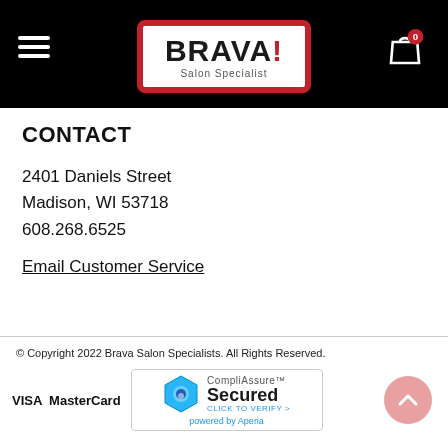BRAVA! Salon Specialist
CONTACT
2401 Daniels Street
Madison, WI 53718
608.268.6525
Email Customer Service
© Copyright 2022 Brava Salon Specialists. All Rights Reserved.
[Figure (logo): VISA MasterCard logos and CompliAssure Secured badge powered by Aperia]